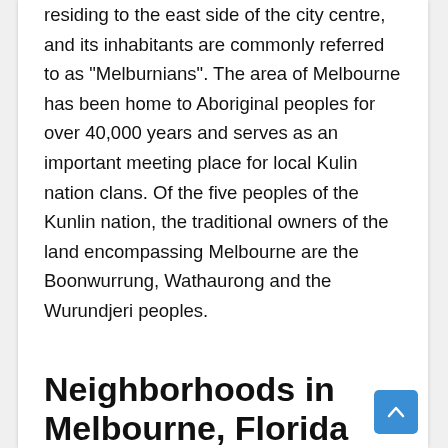residing to the east side of the city centre, and its inhabitants are commonly referred to as "Melburnians". The area of Melbourne has been home to Aboriginal peoples for over 40,000 years and serves as an important meeting place for local Kulin nation clans. Of the five peoples of the Kunlin nation, the traditional owners of the land encompassing Melbourne are the Boonwurrung, Wathaurong and the Wurundjeri peoples.
Neighborhoods in Melbourne, Florida